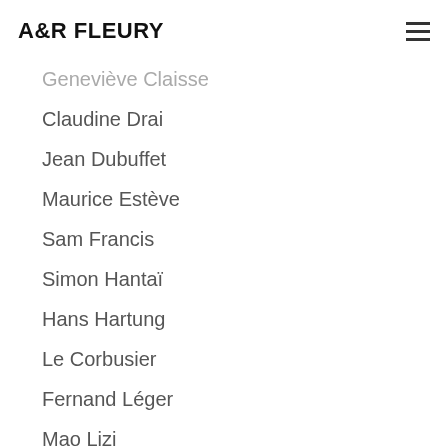A&R FLEURY
Geneviève Claisse
Claudine Drai
Jean Dubuffet
Maurice Estève
Sam Francis
Simon Hantaï
Hans Hartung
Le Corbusier
Fernand Léger
Mao Lizi
Georges Mathieu